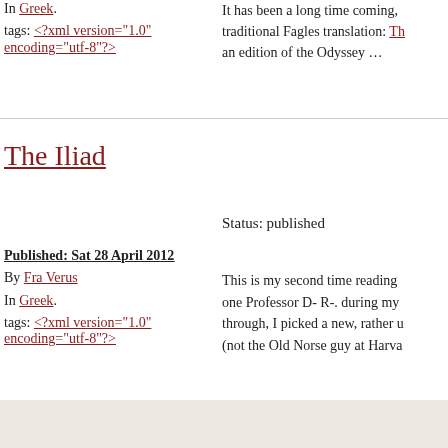In Greek.
tags: <?xml version="1.0" encoding="utf-8"?>
It has been a long time coming, traditional Fagles translation: Th an edition of the Odyssey …
The Iliad
Status: published
Published: Sat 28 April 2012
By Fra Verus
In Greek.
tags: <?xml version="1.0" encoding="utf-8"?>
This is my second time reading one Professor D- R-. during my through, I picked a new, rather u (not the Old Norse guy at Harva